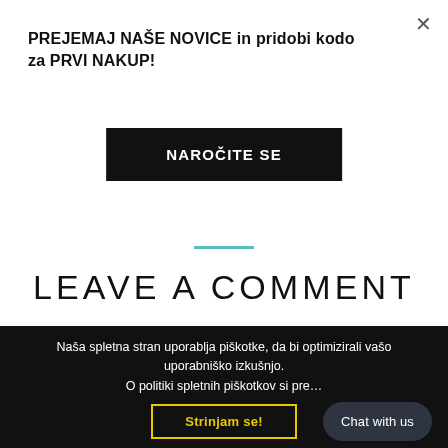×
PREJEMAJ NAŠE NOVICE in pridobi kodo za PRVI NAKUP!
NAROČITE SE
LEAVE A COMMENT
Naša spletna stran uporablja piškotke, da bi optimizirali vašo uporabniško izkušnjo.
O politiki spletnih piškotkov si pre…
Strinjam se!
Chat with us